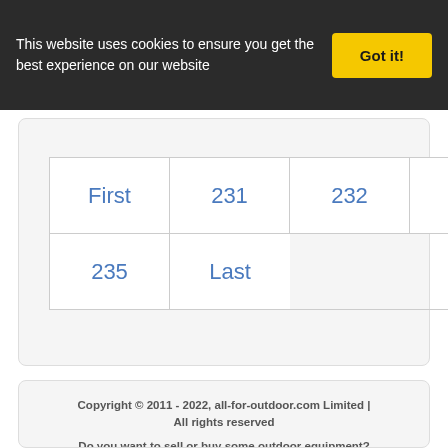This website uses cookies to ensure you get the best experience on our website
Got it!
| First | 231 | 232 | 233 | 234 |
| 235 | Last |  |  |  |
Copyright © 2011 - 2022, all-for-outdoor.com Limited | All rights reserved
Do you want to sell or buy some outdoor equipment? Then you are on the right place here.
Search our extensive catalogue of outdoor equipment and accessories. You can find here every tents or